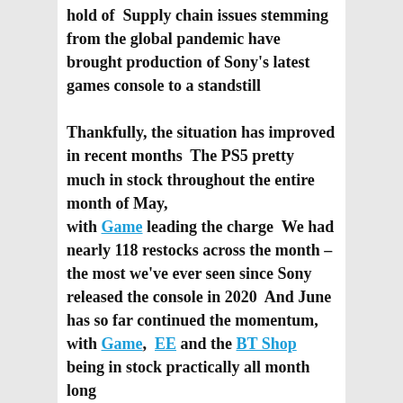hold of Supply chain issues stemming from the global pandemic have brought production of Sony's latest games console to a standstill
Thankfully, the situation has improved in recent months The PS5 pretty much in stock throughout the entire month of May, with Game leading the charge We had nearly 118 restocks across the month – the most we've ever seen since Sony released the console in 2020 And June has so far continued the momentum, with Game, EE and the BT Shop being in stock practically all month long
Saying that, buying a console on its own is still more difficult than picking